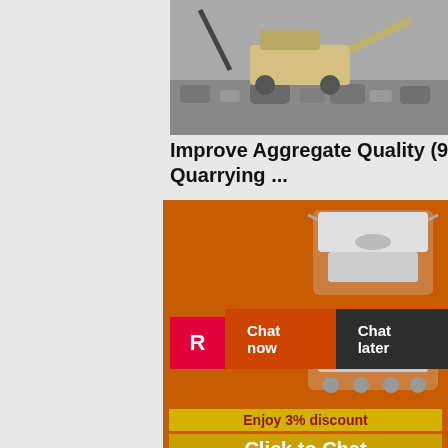[Figure (photo): Mining/quarrying equipment operating among rocks and rubble at a quarry site, top image]
Improve Aggregate Quality (9 Tips) | Quarrying ...
[Figure (photo): Live Chat popup overlay showing workers in hard hats with LIVE CHAT heading and Click for a Free Consultation text]
[Figure (photo): Sidebar advertisement showing crushing/screening machinery on orange background with Enjoy 3% discount and Click to Chat, Enquiry section with limingjlmofen@sina.com]
[Figure (photo): Excavator working at a quarry or mining site, bottom image]